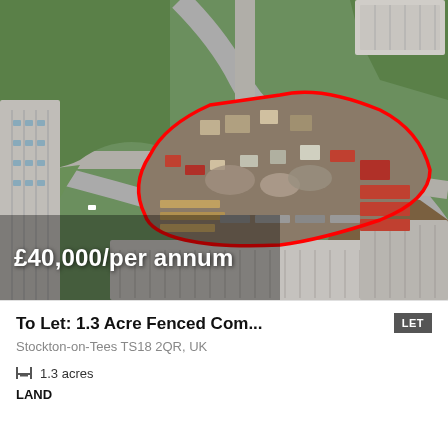[Figure (map): Aerial satellite view of an industrial land plot in Stockton-on-Tees, with a red outline marking a triangular 1.3-acre fenced compound site surrounded by roads and industrial buildings.]
£40,000/per annum
To Let: 1.3 Acre Fenced Com...
Stockton-on-Tees TS18 2QR, UK
1.3 acres
LAND